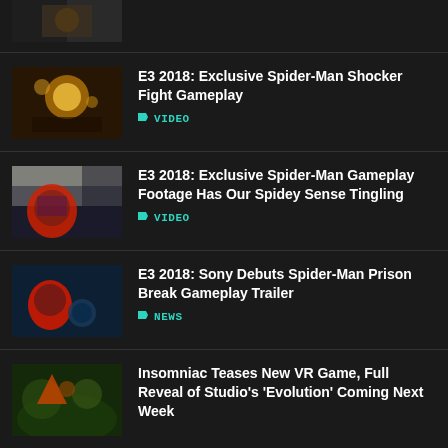[Figure (photo): Partial thumbnail of a game screenshot at top of page, cropped]
E3 2018: Exclusive Spider-Man Shocker Fight Gameplay — VIDEO
E3 2018: Exclusive Spider-Man Gameplay Footage Has Our Spidey Sense Tingling — VIDEO
E3 2018: Sony Debuts Spider-Man Prison Break Gameplay Trailer — NEWS
Insomniac Teases New VR Game, Full Reveal of Studio's 'Evolution' Coming Next Week